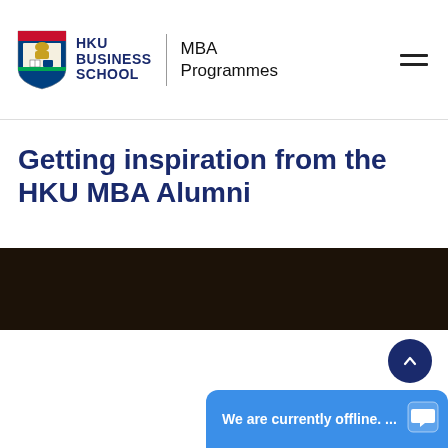HKU BUSINESS SCHOOL | MBA Programmes
Getting inspiration from the HKU MBA Alumni
[Figure (photo): Dark brownish-black horizontal image band, appears to be a partially visible photograph with very dark tones]
We are currently offline. ...